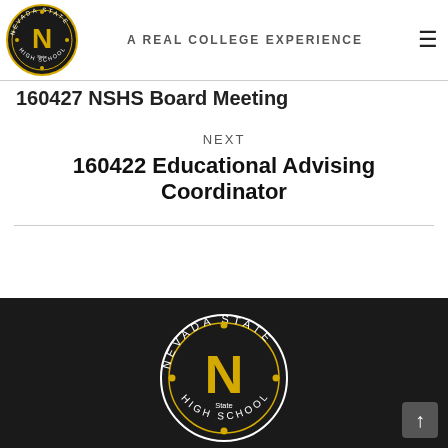[Figure (logo): Nevada State High School circular logo — black background with gold N and text 'NEVADA STATE HIGH SCHOOL' around the ring, tagline 'A REAL COLLEGE EXPERIENCE']
A REAL COLLEGE EXPERIENCE
160427 NSHS Board Meeting
NEXT
160422 Educational Advising Coordinator
[Figure (logo): Nevada State High School large circular logo on dark background — partial view, gold N on black, ring text 'NEVADA STATE']